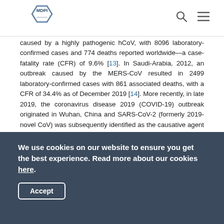MDPI
caused by a highly pathogenic hCoV, with 8096 laboratory-confirmed cases and 774 deaths reported worldwide—a case-fatality rate (CFR) of 9.6% [13]. In Saudi-Arabia, 2012, an outbreak caused by the MERS-CoV resulted in 2499 laboratory-confirmed cases with 861 associated deaths, with a CFR of 34.4% as of December 2019 [14]. More recently, in late 2019, the coronavirus disease 2019 (COVID-19) outbreak originated in Wuhan, China and SARS-CoV-2 (formerly 2019-novel CoV) was subsequently identified as the causative agent and the latest highly pathogenic hCoV [15]. As of writing, there have been 119,212,530 confirmed cases of COVID-19 with at least 2,642,612 deaths reported globally [16].
Those infected with the…highly pathogenic CoV…
We use cookies on our website to ensure you get the best experience. Read more about our cookies here.
Accept